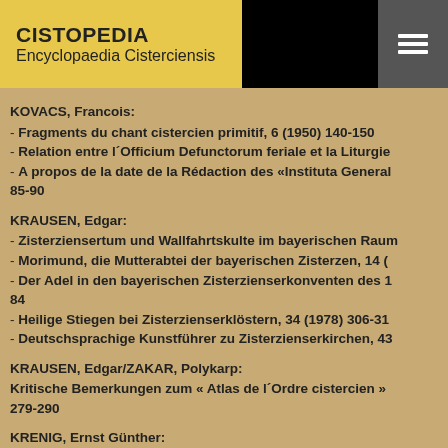CISTOPEDIA Encyclopaedia Cisterciensis
KOVACS, Francois:
- Fragments du chant cistercien primitif, 6 (1950) 140-150
- Relation entre l´Officium Defunctorum feriale et la Liturgie
- A propos de la date de la Rédaction des «Instituta Genera... 85-90
KRAUSEN, Edgar:
- Zisterziensertum und Wallfahrtskulte im bayerischen Rau...
- Morimund, die Mutterabtei der bayerischen Zisterzen, 14 (...
- Der Adel in den bayerischen Zisterzienserkonventen des 1... 84
- Heilige Stiegen bei Zisterzienserklöstern, 34 (1978) 306-31...
- Deutschsprachige Kunstführer zu Zisterzienserkirchen, 43...
KRAUSEN, Edgar/ZAKAR, Polykarp:
Kritische Bemerkungen zum « Atlas de l´Ordre cistercien »...
279-290
KRENIG, Ernst Günther:
Mittelalterliche Frauenklöster nach den Konstitutionen von...